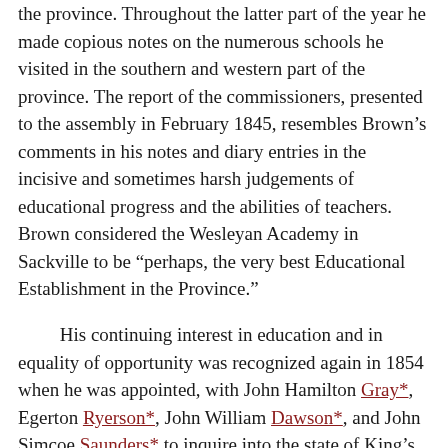the province. Throughout the latter part of the year he made copious notes on the numerous schools he visited in the southern and western part of the province. The report of the commissioners, presented to the assembly in February 1845, resembles Brown's comments in his notes and diary entries in the incisive and sometimes harsh judgements of educational progress and the abilities of teachers. Brown considered the Wesleyan Academy in Sackville to be “perhaps, the very best Educational Establishment in the Province.”
His continuing interest in education and in equality of opportunity was recognized again in 1854 when he was appointed, with John Hamilton Gray*, Egerton Ryerson*, John William Dawson*, and John Simcoe Saunders* to inquire into the state of King’s College, Fredericton [see Edwin Jacob]. They examined the organization and administration of Brown University in Providence, Rhode Island, as a model. Their study and consequent recommendations resulted in the creation by an act of 1859 of the nondenominational University of New